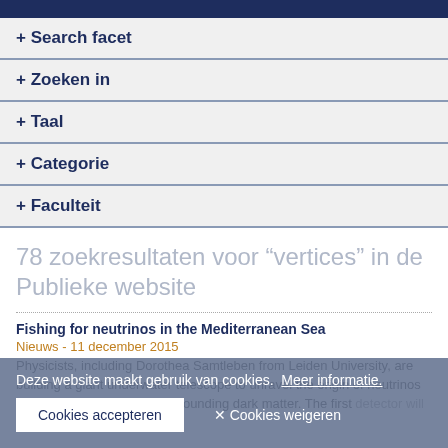+ Search facet
+ Zoeken in
+ Taal
+ Categorie
+ Faculteit
78 zoekresultaten voor “vertices” in de Publieke website
Fishing for neutrinos in the Mediterranean Sea
Nieuws - 11 december 2015
Physicists, including Dorothea Samtleben from Leiden University, are building a giant underwater telescope to unravel the origin of neutrinos and to solve the mystery surrounding dark matter. The first...
Deze website maakt gebruik van cookies.  Meer informatie.
Cookies accepteren
Cookies weigeren